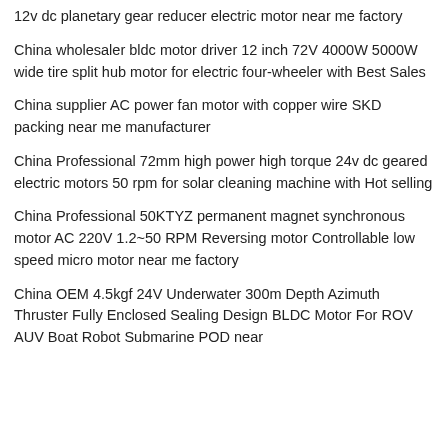12v dc planetary gear reducer electric motor near me factory
China wholesaler bldc motor driver 12 inch 72V 4000W 5000W wide tire split hub motor for electric four-wheeler with Best Sales
China supplier AC power fan motor with copper wire SKD packing near me manufacturer
China Professional 72mm high power high torque 24v dc geared electric motors 50 rpm for solar cleaning machine with Hot selling
China Professional 50KTYZ permanent magnet synchronous motor AC 220V 1.2~50 RPM Reversing motor Controllable low speed micro motor near me factory
China OEM 4.5kgf 24V Underwater 300m Depth Azimuth Thruster Fully Enclosed Sealing Design BLDC Motor For ROV AUV Boat Robot Submarine POD near